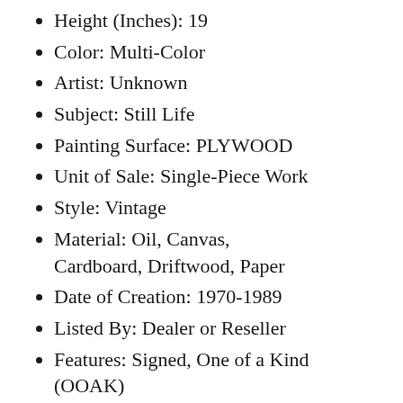Height (Inches): 19
Color: Multi-Color
Artist: Unknown
Subject: Still Life
Painting Surface: PLYWOOD
Unit of Sale: Single-Piece Work
Style: Vintage
Material: Oil, Canvas, Cardboard, Driftwood, Paper
Date of Creation: 1970-1989
Listed By: Dealer or Reseller
Features: Signed, One of a Kind (OOAK)
Original/Licensed Reproduction: Original
Production Technique: Oil Painting
Type: Painting